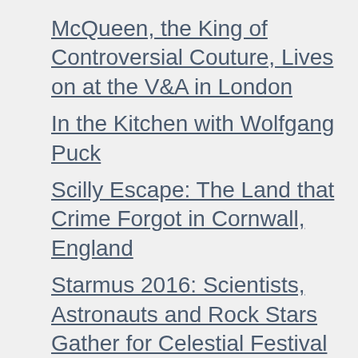McQueen, the King of Controversial Couture, Lives on at the V&A in London
In the Kitchen with Wolfgang Puck
Scilly Escape: The Land that Crime Forgot in Cornwall, England
Starmus 2016: Scientists, Astronauts and Rock Stars Gather for Celestial Festival
London Fashion: Where Every “Don’t” is a “Do”
Truth and Spies: Tongue-loosening cocktails at The Stafford London
Meet Harry’s Potter’s Special Effects Wiz(ard) John Richardson